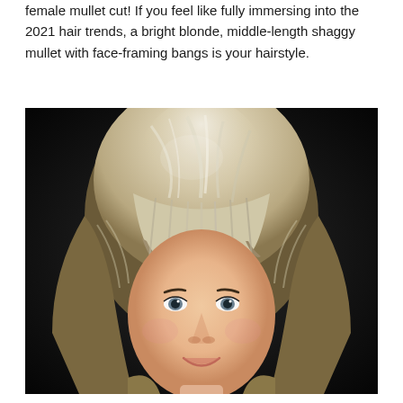female mullet cut! If you feel like fully immersing into the 2021 hair trends, a bright blonde, middle-length shaggy mullet with face-framing bangs is your hairstyle.
[Figure (photo): Close-up portrait of a young woman with a bright blonde shaggy mullet haircut with face-framing bangs, against a dark/black background. She has blue eyes and is smiling slightly.]